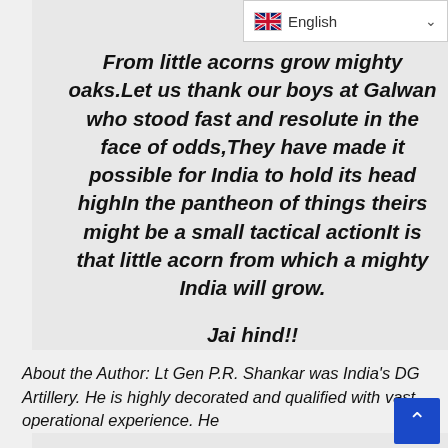[Figure (screenshot): English language selector dropdown button with UK flag icon and chevron arrow]
From little acorns grow mighty oaks.Let us thank our boys at Galwan who stood fast and resolute in the face of odds,They have made it possible for India to hold its head highIn the pantheon of things theirs might be a small tactical actionIt is that little acorn from which a mighty India will grow.

Jai hind!!
About the Author: Lt Gen P.R. Shankar was India's DG Artillery. He is highly decorated and qualified with vast operational experience. He